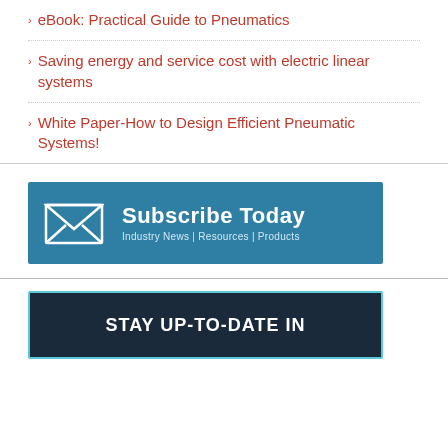eBook: Practical Guide to Pneumatics
Saving energy and service cost with electric linear systems
White Paper-How to Design Efficient Pneumatic Systems!
[Figure (infographic): Subscribe Today banner with envelope icon. Teal/blue background. Text: Subscribe Today, Industry News | Resources | Products]
[Figure (infographic): Stay Up-To-Date In banner with dark background and teal border. Text: STAY UP-TO-DATE IN]